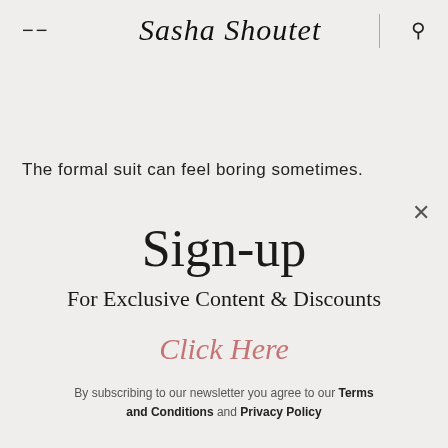Sasha Shoutet
The formal suit can feel boring sometimes.
Sign-up
For Exclusive Content & Discounts
Click Here
By subscribing to our newsletter you agree to our Terms and Conditions and Privacy Policy